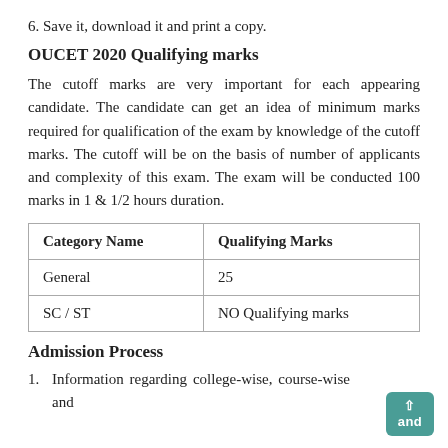6. Save it, download it and print a copy.
OUCET 2020 Qualifying marks
The cutoff marks are very important for each appearing candidate. The candidate can get an idea of minimum marks required for qualification of the exam by knowledge of the cutoff marks. The cutoff will be on the basis of number of applicants and complexity of this exam. The exam will be conducted 100 marks in 1 & 1/2 hours duration.
| Category Name | Qualifying Marks |
| --- | --- |
| General | 25 |
| SC / ST | NO Qualifying marks |
Admission Process
1. Information regarding college-wise, course-wise and